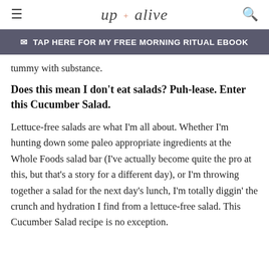up + alive
TAP HERE FOR MY FREE MORNING RITUAL EBOOK
tummy with substance.
Does this mean I don't eat salads? Puh-lease. Enter this Cucumber Salad.
Lettuce-free salads are what I'm all about. Whether I'm hunting down some paleo appropriate ingredients at the Whole Foods salad bar (I've actually become quite the pro at this, but that's a story for a different day), or I'm throwing together a salad for the next day's lunch, I'm totally diggin' the crunch and hydration I find from a lettuce-free salad. This Cucumber Salad recipe is no exception.